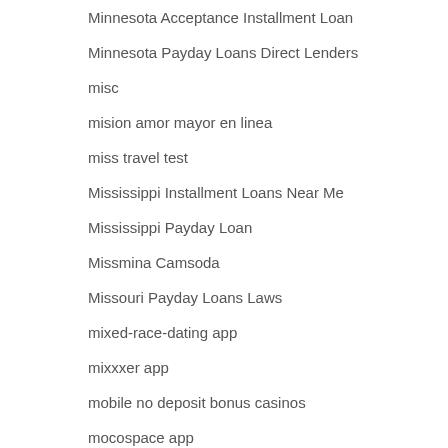Minnesota Acceptance Installment Loan
Minnesota Payday Loans Direct Lenders
misc
mision amor mayor en linea
miss travel test
Mississippi Installment Loans Near Me
Mississippi Payday Loan
Missmina Camsoda
Missouri Payday Loans Laws
mixed-race-dating app
mixxxer app
mobile no deposit bonus casinos
mocospace app
Moldova Women Dating
Money Key Loans
Money Lion